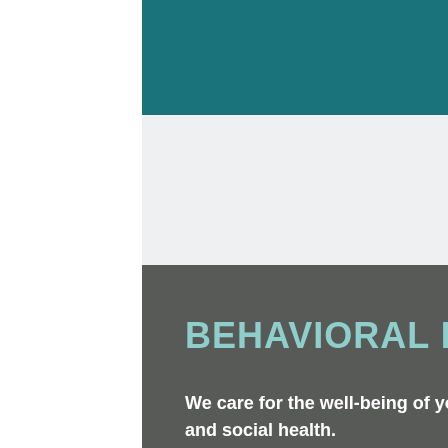[Figure (other): Teal colored header bar at the top of the page]
[Figure (other): Light gray section below the teal bar]
BEHAVIORAL HEALTH
We care for the well-being of your mind — including your emotional and social health.
We offer integrated behavioral health services including counseling, substance use disorder treatment and peer support services.